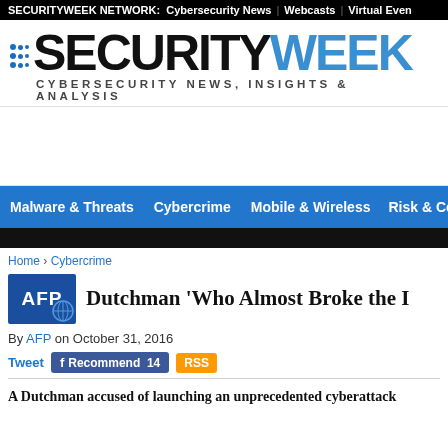SECURITYWEEK NETWORK: Cybersecurity News | Webcasts | Virtual Even
[Figure (logo): SecurityWeek logo with speed-lines icon, text SECURITY in black and WEEK in blue gradient, tagline CYBERSECURITY NEWS, INSIGHTS & ANALYSIS]
Malware & Threats | Cybercrime | Mobile & Wireless | Risk & Complia
Home › Cybercrime
Dutchman 'Who Almost Broke the I
By AFP on October 31, 2016
Tweet  Recommend 14  RSS
A Dutchman accused of launching an unprecedented cyberattack